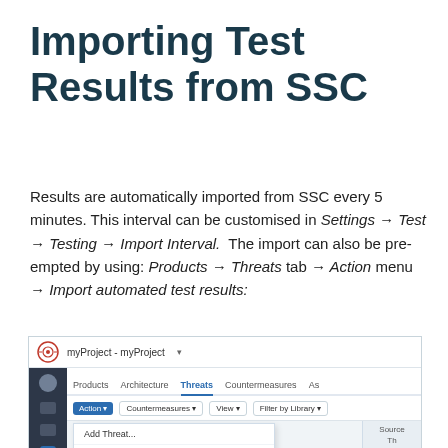Importing Test Results from SSC
Results are automatically imported from SSC every 5 minutes. This interval can be customised in Settings → Test → Testing → Import Interval.  The import can also be pre-empted by using: Products → Threats tab → Action menu → Import automated test results:
[Figure (screenshot): Screenshot of application UI showing the Threats tab with Action dropdown menu open, highlighting 'Import automated test results' option]